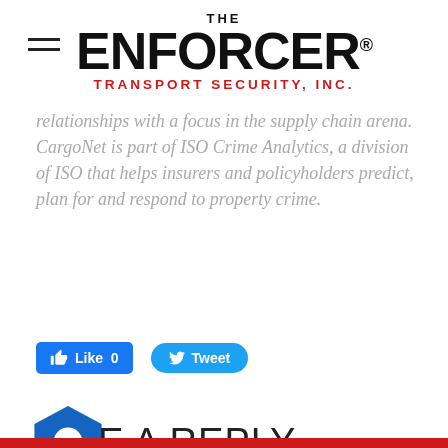THE ENFORCER TRANSPORT SECURITY, INC.
relationships with a focus in the supply chain arena. CargoNet is part of ISO Crime Analytics, a division of ISO that helps insurers and policyholders predict, plan for and respond to property crime.
[Figure (other): Facebook Like button (0 likes) and Twitter Tweet button]
LEAVE A REPLY.